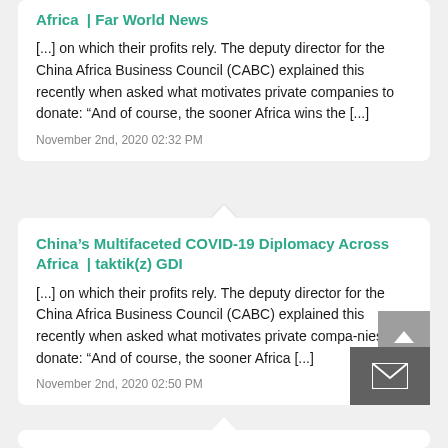Africa  | Far World News
[...] on which their profits rely. The deputy director for the China Africa Business Council (CABC) explained this recently when asked what motivates private companies to donate: “And of course, the sooner Africa wins the [...]
November 2nd, 2020 02:32 PM
China’s Multifaceted COVID-19 Diplomacy Across Africa  | taktik(z) GDI
[...] on which their profits rely. The deputy director for the China Africa Business Council (CABC) explained this recently when asked what motivates private compa-nies to donate: “And of course, the sooner Africa [...]
November 2nd, 2020 02:50 PM